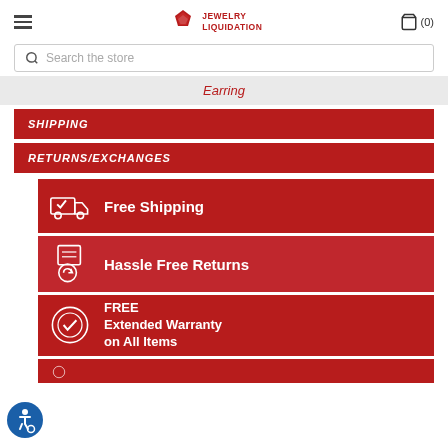Jewelry Liquidation — Navigation header with hamburger menu and cart (0)
Search the store
Earring
SHIPPING
RETURNS/EXCHANGES
[Figure (infographic): Three red promotional banner tiles: 'Free Shipping' with delivery truck icon, 'Hassle Free Returns' with box/return icon, 'FREE Extended Warranty on All Items' with badge/checkmark icon, and a partial fourth banner at the bottom.]
[Figure (logo): Accessibility icon — blue circle with wheelchair symbol]